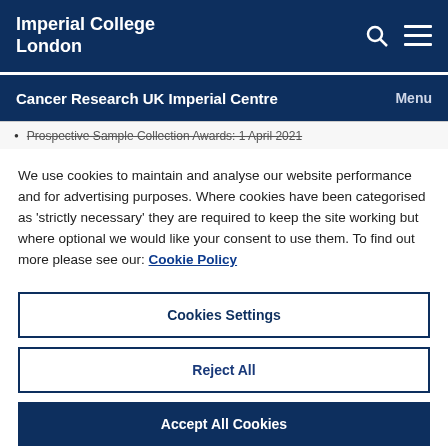Imperial College London
Cancer Research UK Imperial Centre   Menu
Prospective Sample Collection Awards: 1 April 2021
We use cookies to maintain and analyse our website performance and for advertising purposes. Where cookies have been categorised as 'strictly necessary' they are required to keep the site working but where optional we would like your consent to use them. To find out more please see our: Cookie Policy
Cookies Settings
Reject All
Accept All Cookies